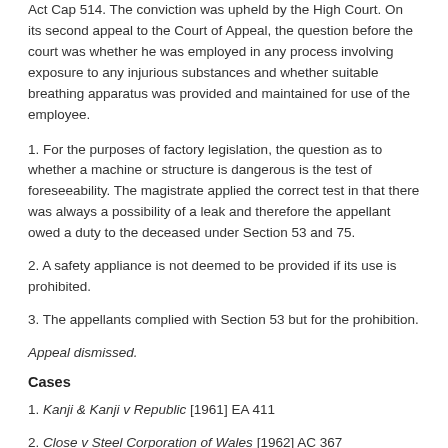Act Cap 514. The conviction was upheld by the High Court. On its second appeal to the Court of Appeal, the question before the court was whether he was employed in any process involving exposure to any injurious substances and whether suitable breathing apparatus was provided and maintained for use of the employee.
1. For the purposes of factory legislation, the question as to whether a machine or structure is dangerous is the test of foreseeability. The magistrate applied the correct test in that there was always a possibility of a leak and therefore the appellant owed a duty to the deceased under Section 53 and 75.
2. A safety appliance is not deemed to be provided if its use is prohibited.
3. The appellants complied with Section 53 but for the prohibition.
Appeal dismissed.
Cases
1. Kanji & Kanji v Republic [1961] EA 411
2. Close v Steel Corporation of Wales [1962] AC 367
3. Boyce v Stannla Metals Ltd [1974] 1 All ER 262